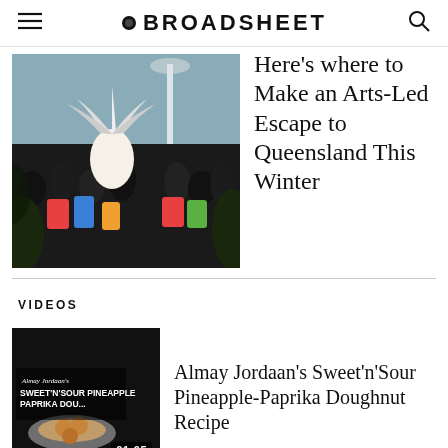BROADSHEET
[Figure (photo): Crowd at an outdoor arts or carnival event, person in white feathered costume in foreground]
Here's where to Make an Arts-Led Escape to Queensland This Winter
VIDEOS
[Figure (screenshot): Video thumbnail showing Almay Jordaan's Sweet'n'Sour Pineapple-Paprika Doughnuts with text overlay and duration 01:05]
Almay Jordaan's Sweet'n'Sour Pineapple-Paprika Doughnut Recipe